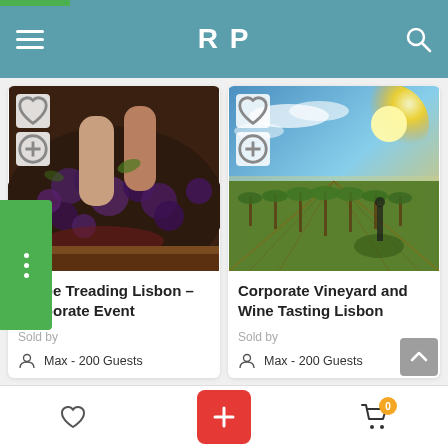[Figure (screenshot): Mobile app navigation bar with hamburger menu, RP logo, and search icon on teal background]
[Figure (photo): Grape treading photo showing feet crushing dark grapes in a barrel]
Grape Treading Lisbon – Corporate Event
Sold by
Max - 200 Guests
Price Per Person
[Figure (photo): Vineyard at sunset with rows of vines and golden sky]
Corporate Vineyard and Wine Tasting Lisbon
Sold by
Max - 200 Guests
Price Per Person